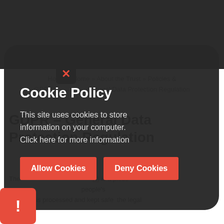Home » Home » About the Trust » Policies & GDPR » General Data Protection Regulation
GDPR – General Data Protection Regulation
The General Data Protection Regulation (GDPR) is a piece of legislation designed to strengthen and unify data protection for all individuals… people's data is processed and kept safe and the legal
[Figure (screenshot): Cookie Policy modal overlay on a dark rounded card with close button, showing title 'Cookie Policy', body text 'This site uses cookies to store information on your computer. Click here for more information', and two red buttons: 'Allow Cookies' and 'Deny Cookies'. A red warning badge with exclamation mark is visible at bottom-left.]